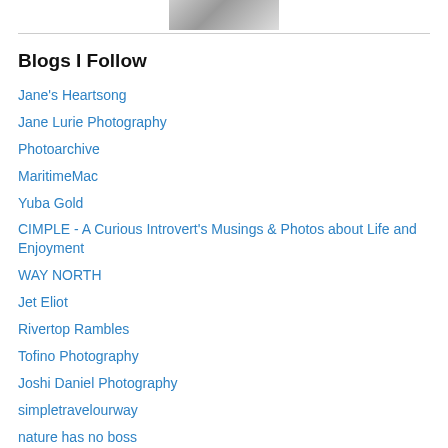[Figure (photo): Partial black and white photo visible at top of page]
Blogs I Follow
Jane's Heartsong
Jane Lurie Photography
Photoarchive
MaritimeMac
Yuba Gold
CIMPLE - A Curious Introvert's Musings & Photos about Life and Enjoyment
WAY NORTH
Jet Eliot
Rivertop Rambles
Tofino Photography
Joshi Daniel Photography
simpletravelourway
nature has no boss